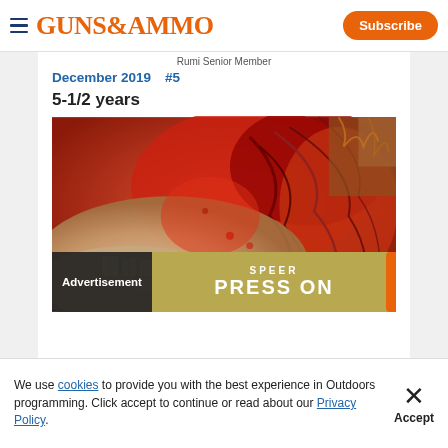GUNS&AMMO  Subscribe
Rumi Senior Member
December 2019   #5
5-1/2 years
[Figure (photo): Close-up photo of a deer or animal showing teeth, flesh, and biological tissue with red and tan tones.]
Advertisement
SPEER  PRESS ON
We use cookies to provide you with the best experience in Outdoors programming. Click accept to continue or read about our Privacy Policy.